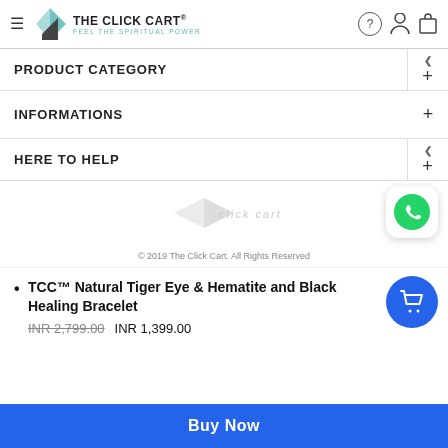THE CLICK CART® FEEL THE SPIRITUAL POWER
PRODUCT CATEGORY
INFORMATIONS
HERE TO HELP
[Figure (logo): The Click Cart watermark logo in light gray]
[Figure (other): WhatsApp green icon button]
© 2019 The Click Cart. All Rights Reserved
TCC™ Natural Tiger Eye & Hematite and Black Healing Bracelet
INR 2,799.00  INR 1,399.00
Buy Now